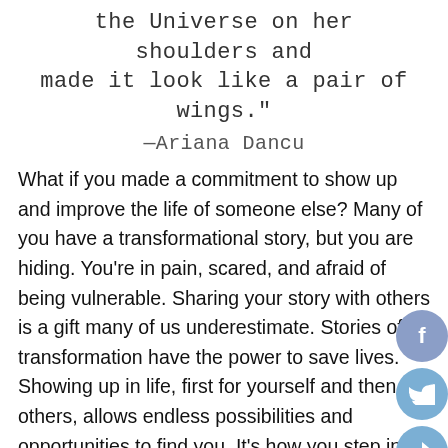the Universe on her shoulders and made it look like a pair of wings." —Ariana Dancu
What if you made a commitment to show up and improve the life of someone else? Many of you have a transformational story, but you are hiding. You're in pain, scared, and afraid of being vulnerable. Sharing your story with others is a gift many of us underestimate. Stories of transformation have the power to save lives. Showing up in life, first for yourself and then for others, allows endless possibilities and opportunities to find you. It's how you step into your greatness.
[Figure (illustration): Social share buttons: Facebook (f), Twitter (bird icon), and a share/forward button, stacked vertically on the right edge of the page]